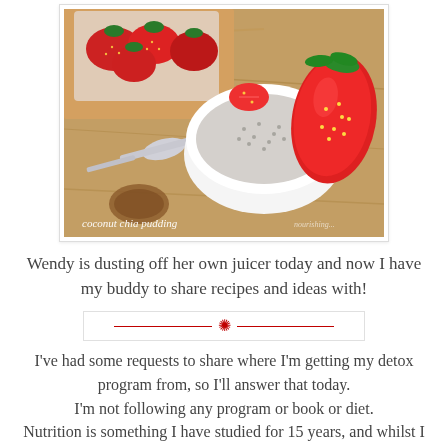[Figure (photo): A white bowl containing coconut chia pudding topped with sliced strawberries, placed on a wooden surface. Additional strawberries in a container visible in the background. A spoon also visible. Text overlay reads 'coconut chia pudding'.]
Wendy is dusting off her own juicer today and now I have my buddy to share recipes and ideas with!
[Figure (other): Decorative horizontal divider with red lines and a red snowflake/asterisk symbol in the center, inside a light bordered box.]
I've had some requests to share where I'm getting my detox program from, so I'll answer that today. I'm not following any program or book or diet. Nutrition is something I have studied for 15 years, and whilst I have tried to live and eat using that knowledge it was always a struggle to 'carry' the family along with me as they